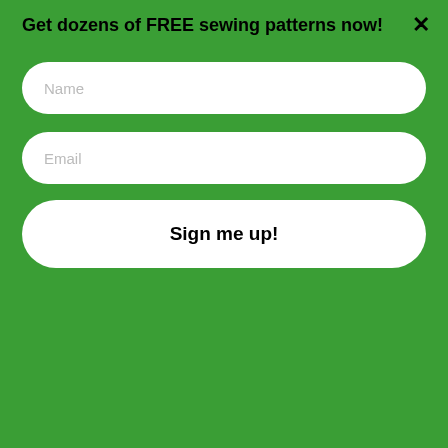Get dozens of FREE sewing patterns now!
Name
Email
Sign me up!
< DIY Christmas Face Mask Pattern to Sew for FREE!
> Welcome to the new Cucicucicoo for 2021!
WHAT'S NEXT → Field of Flowers...